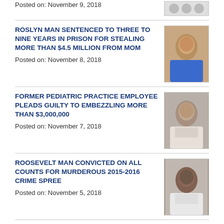Posted on: November 9, 2018
ROSLYN MAN SENTENCED TO THREE TO NINE YEARS IN PRISON FOR STEALING MORE THAN $4.5 MILLION FROM MOM
Posted on: November 8, 2018
FORMER PEDIATRIC PRACTICE EMPLOYEE PLEADS GUILTY TO EMBEZZLING MORE THAN $3,000,000
Posted on: November 7, 2018
ROOSEVELT MAN CONVICTED ON ALL COUNTS FOR MURDEROUS 2015-2016 CRIME SPREE
Posted on: November 5, 2018
DISTRICT ATTORNEY SINGAS REMINDS VOTERS OF RIGHTS AND ANNOUNCES ELECTION PROTECTION PROGRAM
Posted on: November 5, 2018